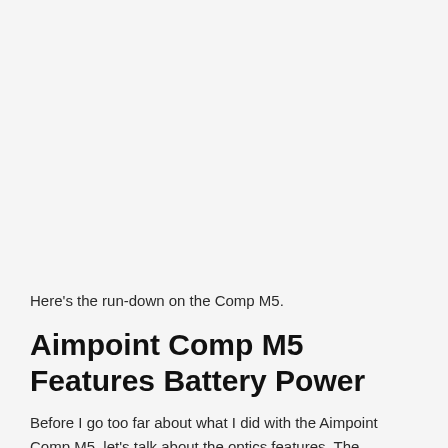Here’s the run-down on the Comp M5.
Aimpoint Comp M5 Features Battery Power
Before I go too far about what I did with the Aimpoint Comp M5, let’s talk about the optics features. The CompM5 is run by a single A.A.A. battery. This is a